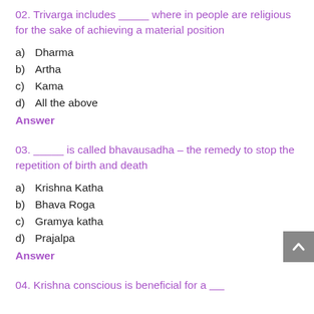02. Trivarga includes _____ where in people are religious for the sake of achieving a material position
a)   Dharma
b)   Artha
c)   Kama
d)   All the above
Answer
03. _____ is called bhavausadha – the remedy to stop the repetition of birth and death
a)   Krishna Katha
b)   Bhava Roga
c)   Gramya katha
d)   Prajalpa
Answer
04. Krishna conscious is beneficial for a _____